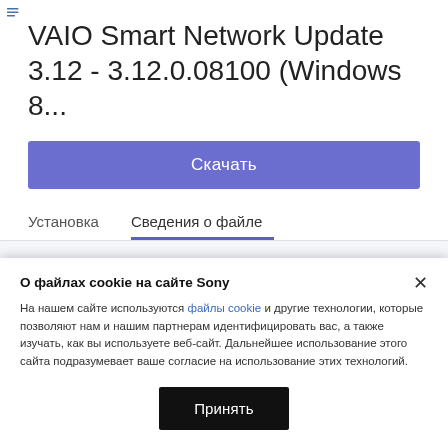VAIO Smart Network Update 3.12 - 3.12.0.08100 (Windows 8...
Скачать
Установка
Сведения о файле
Зарегистрируйте ваш продукт
Получите доступ к информации и доступным обновлениям и воспользуйтесь эксклюзивными
О файлах cookie на сайте Sony
На нашем сайте используются файлы cookie и другие технологии, которые позволяют нам и нашим партнерам идентифицировать вас, а также изучать, как вы используете веб-сайт. Дальнейшее использование этого сайта подразумевает ваше согласие на использование этих технологий.
Принять